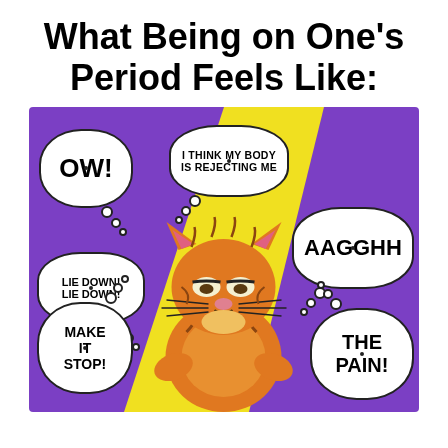What Being on One's Period Feels Like:
[Figure (illustration): Comic illustration of Garfield the cat looking pained, surrounded by thought bubbles reading: OW!, I THINK MY BODY IS REJECTING ME, AAGGHH, LIE DOWN! LIE DOWN!, MAKE IT STOP!, THE PAIN! Background is purple with yellow lightning bolt shape.]